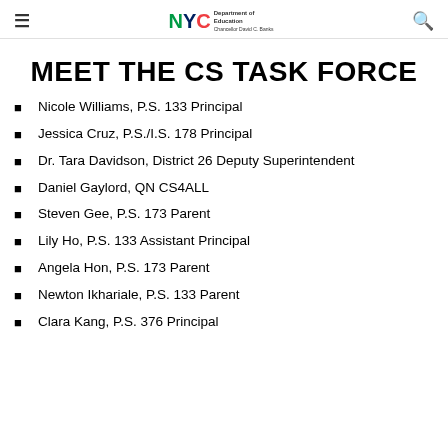NYC Department of Education
MEET THE CS TASK FORCE
Nicole Williams, P.S. 133 Principal
Jessica Cruz, P.S./I.S. 178 Principal
Dr. Tara Davidson, District 26 Deputy Superintendent
Daniel Gaylord, QN CS4ALL
Steven Gee, P.S. 173 Parent
Lily Ho, P.S. 133 Assistant Principal
Angela Hon, P.S. 173 Parent
Newton Ikhariale, P.S. 133 Parent
Clara Kang, P.S. 376 Principal